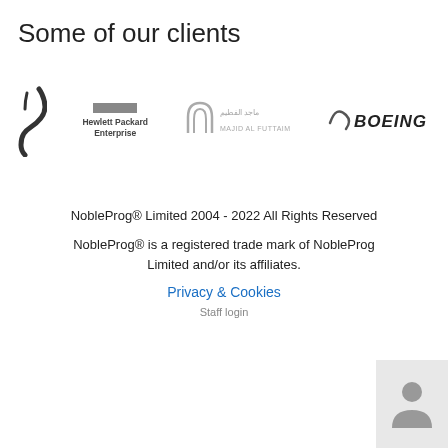Some of our clients
[Figure (logo): Four client logos in a row: a dark stylized figure/letter (possibly Leidos or similar), Hewlett Packard Enterprise, Majid Al Futtaim (Arabic and English text with arch icon), and Boeing]
NobleProg® Limited 2004 - 2022 All Rights Reserved
NobleProg® is a registered trade mark of NobleProg Limited and/or its affiliates.
Privacy & Cookies
Staff login
[Figure (illustration): Person/avatar silhouette icon in a light grey box in the bottom right corner]